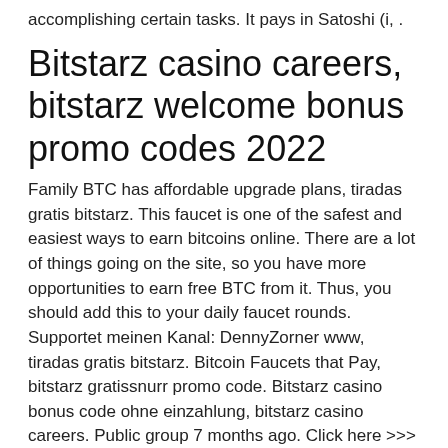accomplishing certain tasks. It pays in Satoshi (i, .
Bitstarz casino careers, bitstarz welcome bonus promo codes 2022
Family BTC has affordable upgrade plans, tiradas gratis bitstarz. This faucet is one of the safest and easiest ways to earn bitcoins online. There are a lot of things going on the site, so you have more opportunities to earn free BTC from it. Thus, you should add this to your daily faucet rounds. Supportet meinen Kanal: DennyZorner www, tiradas gratis bitstarz. Bitcoin Faucets that Pay, bitstarz gratissnurr promo code. Bitstarz casino bonus code ohne einzahlung, bitstarz casino careers. Public group 7 months ago. Click here &gt;&gt;&gt; bitstarz casino bonus code ohne einzahlung. Looking for